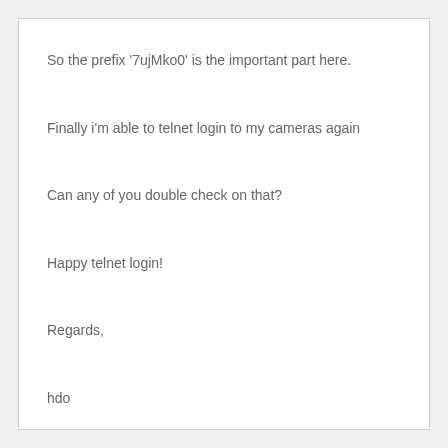So the prefix '7ujMko0' is the important part here.
Finally i'm able to telnet login to my cameras again
Can any of you double check on that?
Happy telnet login!
Regards,
hdo